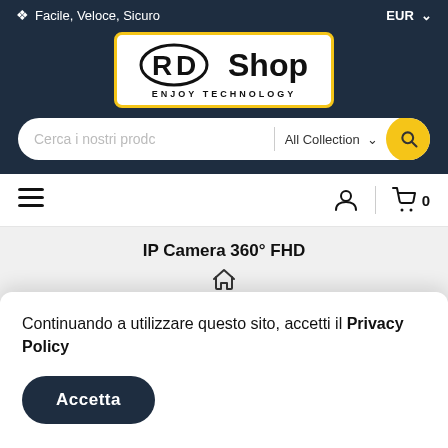Facile, Veloce, Sicuro  EUR
[Figure (logo): RD Shop - Enjoy Technology logo with yellow border on white background]
[Figure (screenshot): Search bar with placeholder 'Cerca i nostri prodo', 'All Collection' dropdown, and yellow search button]
[Figure (screenshot): Navigation bar with hamburger menu, user icon, and cart icon showing 0 items]
IP Camera 360° FHD
[Figure (screenshot): Home icon breadcrumb and partial product page content]
Continuando a utilizzare questo sito, accetti il Privacy Policy
[Figure (screenshot): Accetta button on cookie consent banner]